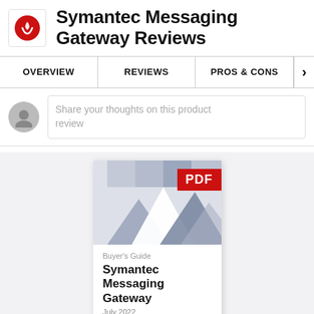Symantec Messaging Gateway Reviews
OVERVIEW | REVIEWS | PROS & CONS
Share your thoughts on this product review
[Figure (screenshot): PDF Buyer's Guide cover for Symantec Messaging Gateway, July 2022, with geometric blue/grey hexagon shapes on cover and red PDF badge]
Buyer's Guide
Symantec Messaging Gateway
July 2022